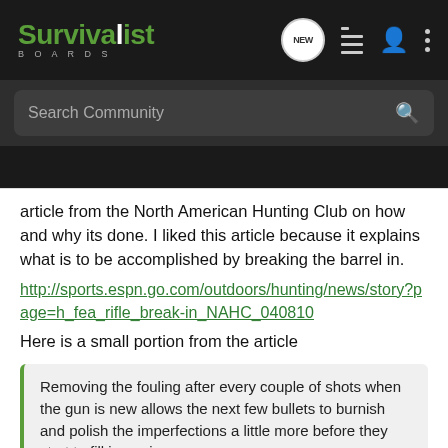Survivalist Boards — navigation bar with search
article from the North American Hunting Club on how and why its done. I liked this article because it explains what is to be accomplished by breaking the barrel in.
http://sports.espn.go.com/outdoors/hunting/news/story?page=h_fea_rifle_break-in_NAHC_040810
Here is a small portion from the article
Removing the fouling after every couple of shots when the gun is new allows the next few bullets to burnish and polish the imperfections a little more before they start to fill in again.

If the process is repeated often enough, the bore becomes "broken in" because it's smoother and the inevitable tool marks and other imperfections of the manufacturing process have been removed or
Click to expand...